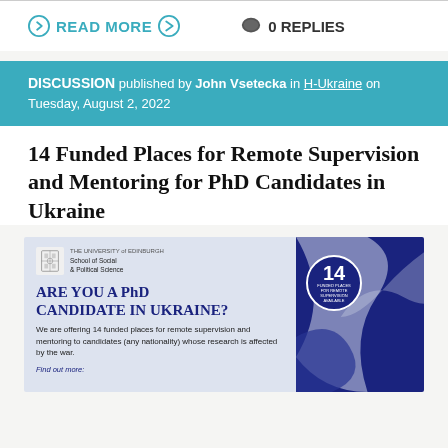READ MORE → 0 REPLIES
DISCUSSION published by John Vsetecka in H-Ukraine on Tuesday, August 2, 2022
14 Funded Places for Remote Supervision and Mentoring for PhD Candidates in Ukraine
[Figure (infographic): University of Edinburgh School of Social & Political Science promotional poster. Text reads: ARE YOU A PhD CANDIDATE IN UKRAINE? We are offering 14 funded places for remote supervision and mentoring to candidates (any nationality) whose research is affected by the war. Badge shows '14 FUNDED PLACES FOR REMOTE SUPERVISION AVAILABLE'. Find out more: [link]]